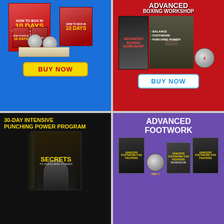[Figure (illustration): How to Box in 10 Days product bundle with DVDs, books, and a yellow BUY NOW button on blue background]
[Figure (illustration): Advanced Boxing Workshop product with boxer photo, disc, bullet points for Balance, Footwork, Punching Power, and white BUY NOW button on red background]
[Figure (illustration): 30-Day Intensive Punching Power Program with Secrets to Punching Power book and boxer image on black background]
[Figure (illustration): Advanced Footwork program with Dancers Footwork for Fighters DVD sets and workbook on purple background]